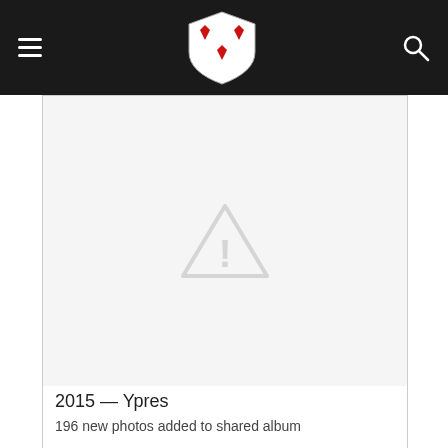[Figure (illustration): Gray warning triangle with exclamation mark, placeholder image]
2015 — Ypres
196 new photos added to shared album
[Figure (illustration): Gray warning triangle with exclamation mark, placeholder image]